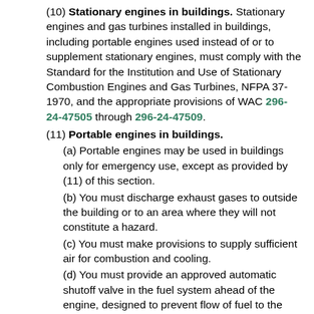(10) Stationary engines in buildings. Stationary engines and gas turbines installed in buildings, including portable engines used instead of or to supplement stationary engines, must comply with the Standard for the Institution and Use of Stationary Combustion Engines and Gas Turbines, NFPA 37-1970, and the appropriate provisions of WAC 296-24-47505 through 296-24-47509.
(11) Portable engines in buildings.
(a) Portable engines may be used in buildings only for emergency use, except as provided by (11) of this section.
(b) You must discharge exhaust gases to outside the building or to an area where they will not constitute a hazard.
(c) You must make provisions to supply sufficient air for combustion and cooling.
(d) You must provide an approved automatic shutoff valve in the fuel system ahead of the engine, designed to prevent flow of fuel to the engine when the ignition is off or if the engine should stop.
(e) The capacity of LP-gas containers used with